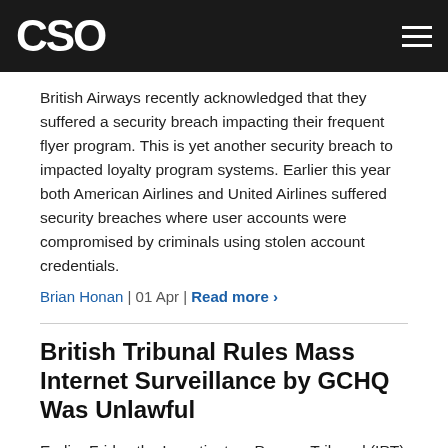CSO
British Airways recently acknowledged that they suffered a security breach impacting their frequent flyer program. This is yet another security breach to impacted loyalty program systems. Earlier this year both American Airlines and United Airlines suffered security breaches where user accounts were compromised by criminals using stolen account credentials.
Brian Honan | 01 Apr | Read more ›
British Tribunal Rules Mass Internet Surveillance by GCHQ Was Unlawful
Earlier Friday the Investigatory Powers Tribunal (IPT) in the UK ruled that the UK's Government Communications Headquarters' (GCHQ) access to information intercepted online by the US National Security Agency (NSA) was unlawful up until December 2014. The Investigatory Powers Tribunal was established in October 2000 under the Regulation of Investigatory Powers Act 2000 ('RIPA') to enable UK citizens to reveal cases where they believed their human rights have been violated by illegal UK